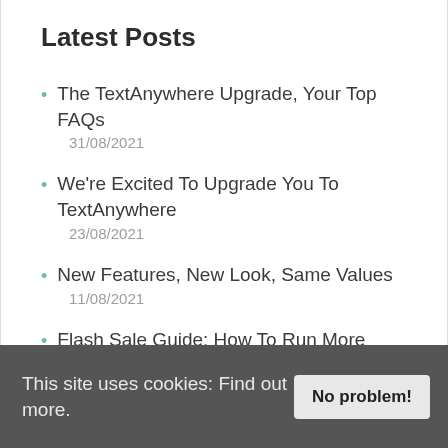Latest Posts
The TextAnywhere Upgrade, Your Top FAQs
31/08/2021
We're Excited To Upgrade You To TextAnywhere
23/08/2021
New Features, New Look, Same Values
11/08/2021
Flash Sale Guide: How To Run More Effective Summer Sale
This site uses cookies: Find out more.
No problem!